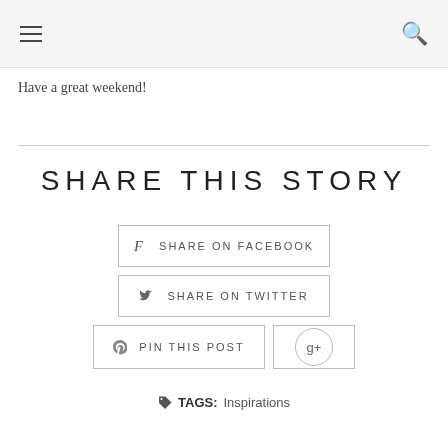≡  🔍
Have a great weekend!
SHARE THIS STORY
f  SHARE ON FACEBOOK
🐦  SHARE ON TWITTER
⊕  PIN THIS POST
g+
TAGS: Inspirations